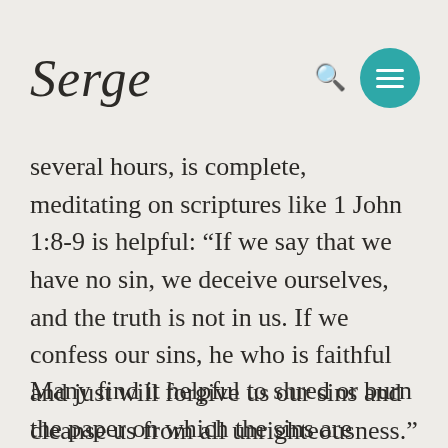Serge
several hours, is complete, meditating on scriptures like 1 John 1:8-9 is helpful: “If we say that we have no sin, we deceive ourselves, and the truth is not in us. If we confess our sins, he who is faithful and just will forgive us our sins and cleanse us from all unrighteousness.”
Many find it helpful to shred or burn the paper on which the sins are written as a tangible sign of the